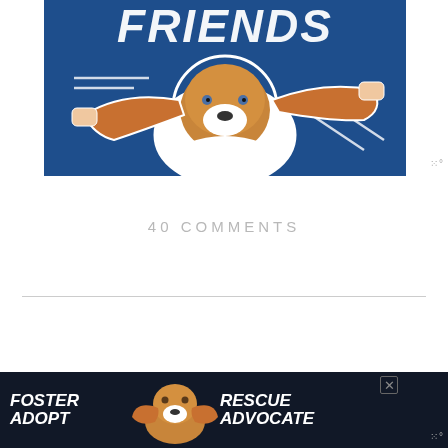[Figure (illustration): Blue background promotional image with a basset hound dog having its large ears spread out by two hands, with white text 'FRIENDS' at the top in bold italic letters and white decorative line graphics]
40 COMMENTS
[Figure (illustration): Dark navy advertisement banner at the bottom with white bold italic text reading 'FOSTER ADOPT' on the left, a beagle dog photo in the center, and 'RESCUE ADVOCATE' text on the right, with a close button X in the upper right area]